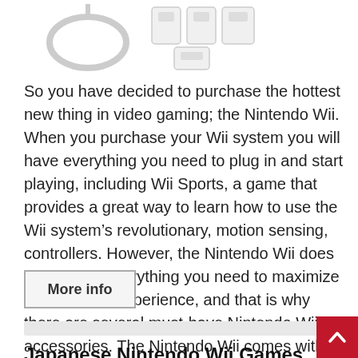[Figure (photo): Nintendo Wii product images showing console cables and accessories in white]
So you have decided to purchase the hottest new thing in video gaming; the Nintendo Wii. When you purchase your Wii system you will have everything you need to plug in and start playing, including Wii Sports, a game that provides a great way to learn how to use the Wii system’s revolutionary, motion sensing, controllers. However, the Nintendo Wii does not include everything you need to maximize your gaming experience, and that is why there are several must-have Nintendo Wii accessories. The Nintendo Wii comes with [...]
More info
Japanese Nintendo Wii Games Offer